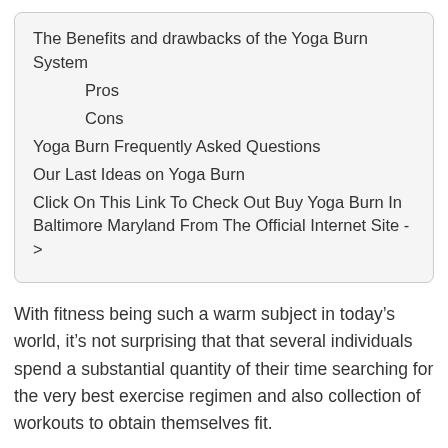The Benefits and drawbacks of the Yoga Burn System
Pros
Cons
Yoga Burn Frequently Asked Questions
Our Last Ideas on Yoga Burn
Click On This Link To Check Out Buy Yoga Burn In Baltimore Maryland From The Official Internet Site ->
With fitness being such a warm subject in today’s world, it’s not surprising that that several individuals spend a substantial quantity of their time searching for the very best exercise regimen and also collection of workouts to obtain themselves fit.